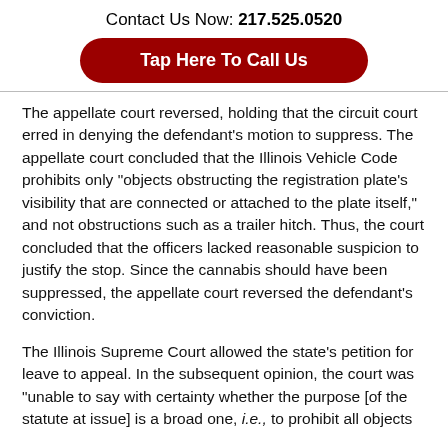Contact Us Now: 217.525.0520
[Figure (other): Red rounded rectangle button with white text: Tap Here To Call Us]
The appellate court reversed, holding that the circuit court erred in denying the defendant’s motion to suppress. The appellate court concluded that the Illinois Vehicle Code prohibits only “objects obstructing the registration plate’s visibility that are connected or attached to the plate itself,” and not obstructions such as a trailer hitch. Thus, the court concluded that the officers lacked reasonable suspicion to justify the stop. Since the cannabis should have been suppressed, the appellate court reversed the defendant’s conviction.
The Illinois Supreme Court allowed the state’s petition for leave to appeal. In the subsequent opinion, the court was “unable to say with certainty whether the purpose [of the statute at issue] is a broad one, i.e., to prohibit all objects